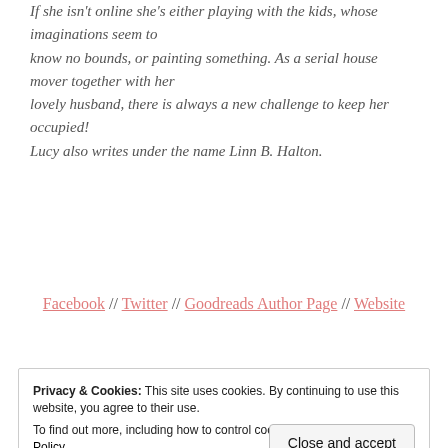If she isn't online she's either playing with the kids, whose imaginations seem to know no bounds, or painting something. As a serial house mover together with her lovely husband, there is always a new challenge to keep her occupied! Lucy also writes under the name Linn B. Halton.
Facebook // Twitter // Goodreads Author Page // Website
Privacy & Cookies: This site uses cookies. By continuing to use this website, you agree to their use. To find out more, including how to control cookies, see here: Cookie Policy
Close and accept